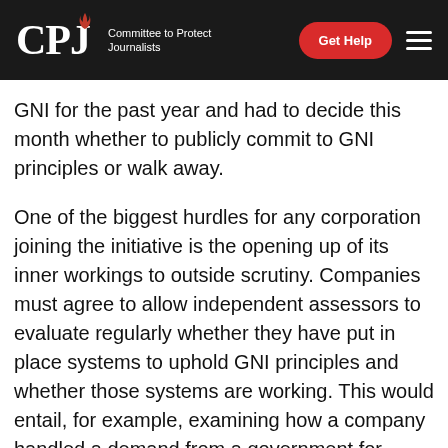CPJ — Committee to Protect Journalists | Get Help
GNI for the past year and had to decide this month whether to publicly commit to GNI principles or walk away.
One of the biggest hurdles for any corporation joining the initiative is the opening up of its inner workings to outside scrutiny. Companies must agree to allow independent assessors to evaluate regularly whether they have put in place systems to uphold GNI principles and whether those systems are working. This would entail, for example, examining how a company handled a demand from a government for information about a user; did it